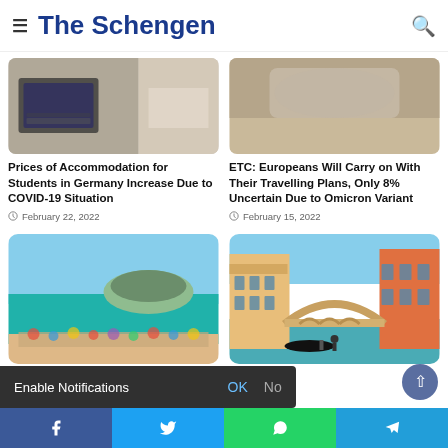The Schengen
[Figure (photo): Laptop and desk items, partial view — top of article image for accommodation story]
Prices of Accommodation for Students in Germany Increase Due to COVID-19 Situation
February 22, 2022
[Figure (photo): Partial aerial or scenic photo — top of ETC article image]
ETC: Europeans Will Carry on With Their Travelling Plans, Only 8% Uncertain Due to Omicron Variant
February 15, 2022
[Figure (photo): Beach scene with island in background, crowded sandy beach with colorful umbrellas, blue sea — likely Ibiza or similar Mediterranean location]
[Figure (photo): Venice Rialto Bridge with gondola and colorful buildings along the Grand Canal]
Non-EU Travellers Now Permitted to Enter Italy … urposes
Enable Notifications  OK  No